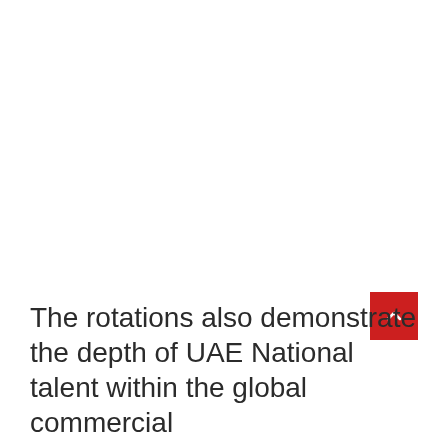[Figure (other): Red square button with a white upward-pointing chevron arrow, positioned near bottom-right of page]
The rotations also demonstrate the depth of UAE National talent within the global commercial